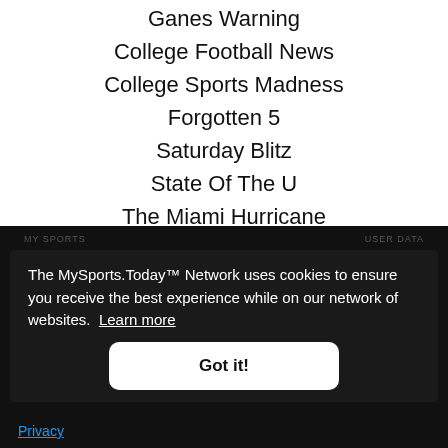Ganes Warning
College Football News
College Sports Madness
Forgotten 5
Saturday Blitz
State Of The U
The Miami Hurricane
Zags Blog
MY SPORTS
USER DATA
The MySports.Today™ Network uses cookies to ensure you receive the best experience while on our network of websites. Learn more
Got it!
Privacy